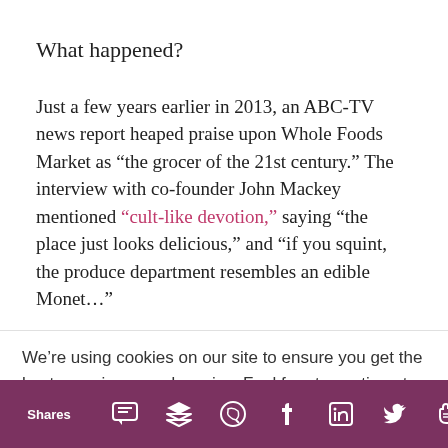What happened?
Just a few years earlier in 2013, an ABC-TV news report heaped praise upon Whole Foods Market as “the grocer of the 21st century.” The interview with co-founder John Mackey mentioned “cult-like devotion,” saying “the place just looks delicious,” and “if you squint, the produce department resembles an edible Monet…”
We’re using cookies on our site to ensure you get the best experience and service. Feel free to continue to use the site if you’re happy with this, or find out more about how to manage